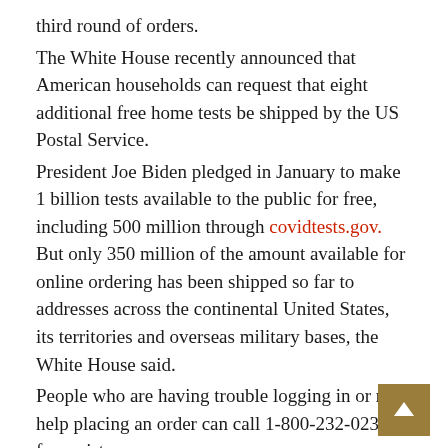third round of orders. The White House recently announced that American households can request that eight additional free home tests be shipped by the US Postal Service. President Joe Biden pledged in January to make 1 billion tests available to the public for free, including 500 million through covidtests.gov. But only 350 million of the amount available for online ordering has been shipped so far to addresses across the continental United States, its territories and overseas military bases, the White House said. People who are having trouble logging in or need help placing an order can call 1-800-232-0233 for assistance. Round three brings the total number of free tests available to every US household to 16 since the program began earlier this year. Households were eligible to receive four tests during each of the previous two rounds of ordering through the website. RELATED: FDA releases new expiration dates for some at-home COVID tests